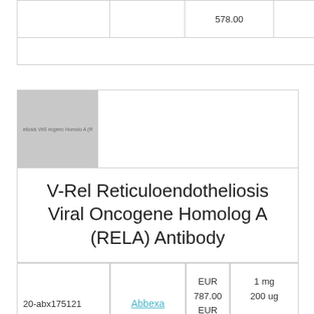|  |  | Price | Size |
| --- | --- | --- | --- |
|  |  | 578.00 |  |
|  |  |  |  |
[Figure (photo): Placeholder image for V-Rel Reticuloendotheliosis Viral Oncogene Homolog A (RELA) Antibody product listing with grey background and small label text]
V-Rel Reticuloendotheliosis Viral Oncogene Homolog A (RELA) Antibody
| ID | Vendor | Price | Size |
| --- | --- | --- | --- |
| 20-abx175121 | Abbexa | EUR 787.00
EUR 411.00 | 1 mg
200 ug |